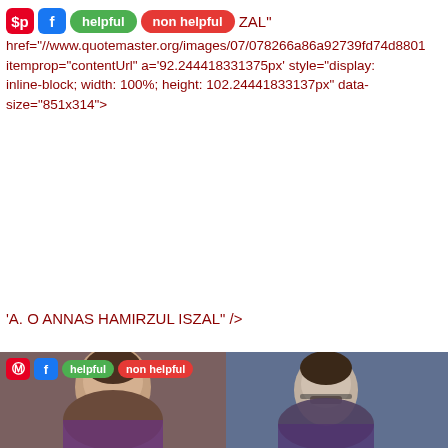'  ZAL" href="//www.quotemaster.org/images/07/078266a86a92739fd74d8801 itemprop="contentUrl" a='92.244418331375px' style="display: inline-block; width: 100%; height: 102.24441833137px" data-size="851x314">
'A. O ANNAS HAMIRZUL ISZAL" />
[Figure (photo): Two side-by-side photos of men, left photo shows a man with dark hair looking forward, right shows a man in glasses looking to the side. Both wearing purple shirts. Social media badge row (Pinterest, Facebook, helpful, non helpful) overlaid on top-left of left photo.]